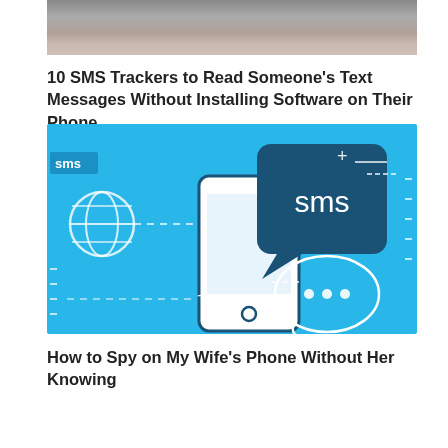[Figure (photo): Partial photo of hands or person at top of page, cropped]
10 SMS Trackers to Read Someone's Text Messages Without Installing Software on Their Phone
[Figure (illustration): Blue background illustration showing a smartphone with a large SMS speech bubble containing the word 'sms', a globe icon, dashed lines, plus signs, and a small speech bubble with three dots on the right side. Small 'sms' label in a blue box on the upper left.]
How to Spy on My Wife's Phone Without Her Knowing